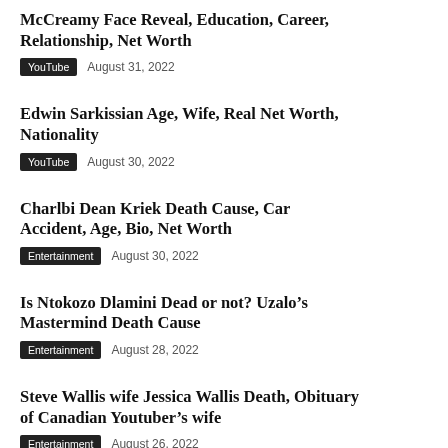McCreamy Face Reveal, Education, Career, Relationship, Net Worth
YouTube   August 31, 2022
Edwin Sarkissian Age, Wife, Real Net Worth, Nationality
YouTube   August 30, 2022
Charlbi Dean Kriek Death Cause, Car Accident, Age, Bio, Net Worth
Entertainment   August 30, 2022
Is Ntokozo Dlamini Dead or not? Uzalo’s Mastermind Death Cause
Entertainment   August 28, 2022
Steve Wallis wife Jessica Wallis Death, Obituary of Canadian Youtuber’s wife
Entertainment   August 26, 2022